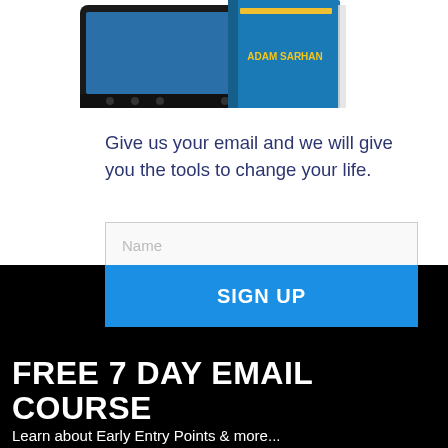[Figure (illustration): Book/tablet product mockup with 'ADAM SARHAN' label in yellow on teal background, shown with a tablet device]
Give us your email and we will give you the tools to change your life.
[Figure (screenshot): Web form with Name input field, Email input field, and a blue SIGN UP button]
FREE 7 DAY EMAIL COURSE
Learn about Early Entry Points &amp; more...